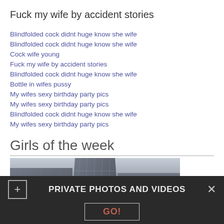Fuck my wife by accident stories
Blindfolded cock didnt huge know she wife
Blindfolded cock didnt huge know she wife
Cock wife young
Fuck my wife by accident stories
Blindfolded cock didnt huge know she wife
Bottle in wifes pussy
My wifes sexy birthday party pics
My wifes sexy birthday party pics
Blindfolded cock didnt huge know she wife
My wifes sexy birthday party pics
Girls of the week
[Figure (photo): Photo of a glass skyscraper building viewed from below, gray and dark tones]
PRIVATE PHOTOS AND VIDEOS
GO!